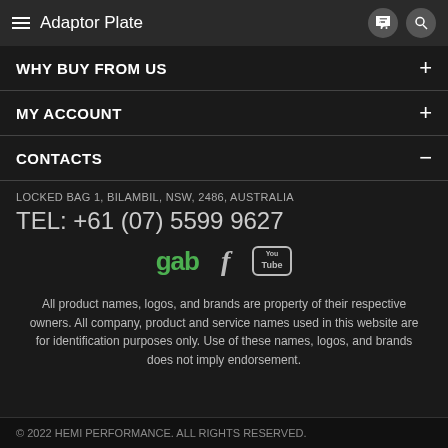Adaptor Plate
WHY BUY FROM US
MY ACCOUNT
CONTACTS
LOCKED BAG 1, BILAMBIL, NSW, 2486, AUSTRALIA
TEL: +61 (07) 5599 9627
[Figure (other): Social media icons: gab (green text), Facebook f icon, YouTube icon]
All product names, logos, and brands are property of their respective owners. All company, product and service names used in this website are for identification purposes only. Use of these names, logos, and brands does not imply endorsement.
© 2022 HEMI PERFORMANCE. ALL RIGHTS RESERVED.